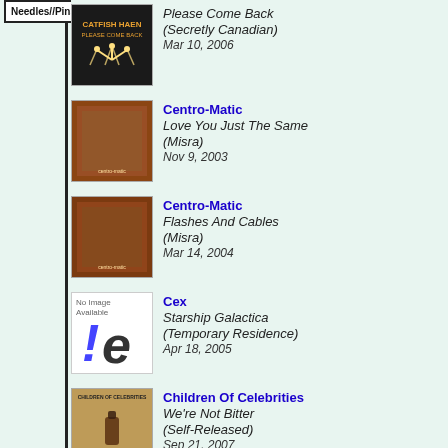Needles//Pins
Catfish Haen - Please Come Back (Secretly Canadian) Mar 10, 2006
Centro-Matic - Love You Just The Same (Misra) Nov 9, 2003
Centro-Matic - Flashes And Cables (Misra) Mar 14, 2004
Cex - Starship Galactica (Temporary Residence) Apr 18, 2005
Children Of Celebrities - We're Not Bitter (Self-Released) Sep 21, 2007
Annabelle Chvostek - Resilience